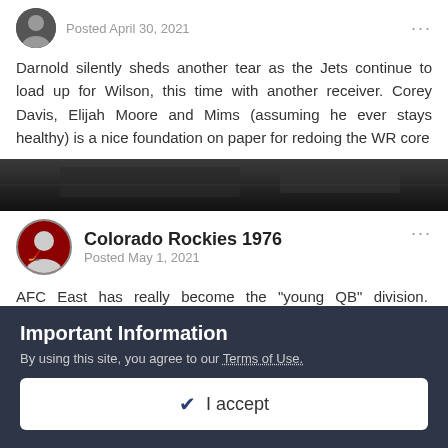Posted April 30, 2021
Darnold silently sheds another tear as the Jets continue to load up for Wilson, this time with another receiver. Corey Davis, Elijah Moore and Mims (assuming he ever stays healthy) is a nice foundation on paper for redoing the WR core
[Figure (photo): Dark banner image, appears to show a stadium or arena interior in low light]
Colorado Rockies 1976
Posted May 1, 2021
AFC East has really become the “young QB” division.  Imagine if ALL of these kids pan out (Allen already has of course).
Edited May 1, 2021 by Colorado Rockies 1976
Important Information
By using this site, you agree to our Terms of Use.
✔ I accept